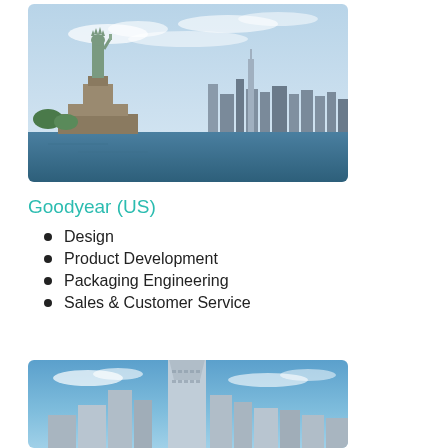[Figure (photo): Statue of Liberty with New York City skyline in the background, viewed from the water]
Goodyear (US)
Design
Product Development
Packaging Engineering
Sales & Customer Service
[Figure (photo): Modern skyscraper building with blue sky in the background, likely Hong Kong or similar Asian city skyline]